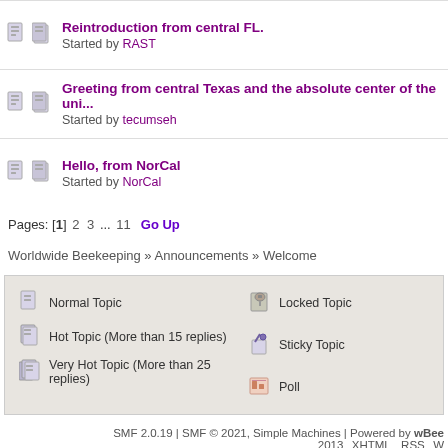Reintroduction from central FL. Started by RAST
Greeting from central Texas and the absolute center of the uni... Started by tecumseh
Hello, from NorCal Started by NorCal
Pages: [1] 2 3 ... 11   Go Up
Worldwide Beekeeping » Announcements » Welcome
Normal Topic  Hot Topic (More than 15 replies)  Very Hot Topic (More than 25 replies)  Locked Topic  Sticky Topic  Poll
SMF 2.0.19 | SMF © 2021, Simple Machines | Powered by wBee 2013  XHTML  RSS  W
Page created in 0.257 seconds with